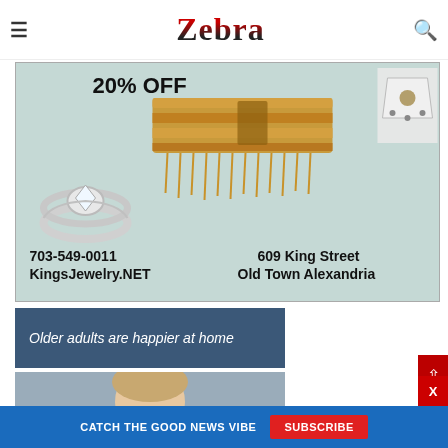Zebra
[Figure (photo): Jewelry advertisement showing a diamond ring, gold fringe bracelet, and pendant necklace on a mint green background with '20% OFF' text, phone number 703-549-0011, website KingsJewelry.NET, address 609 King Street Old Town Alexandria]
[Figure (photo): Blue banner with italic white text reading 'Older adults are happier at home' with partial photo of a person below]
CATCH THE GOOD NEWS VIBE
SUBSCRIBE